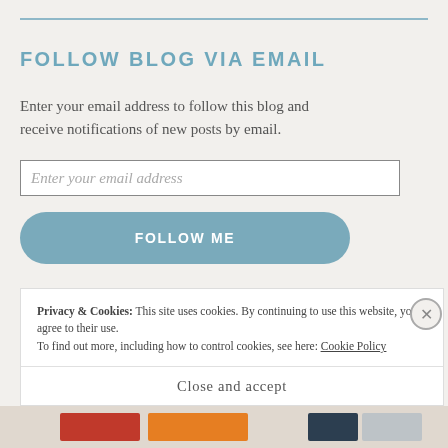FOLLOW BLOG VIA EMAIL
Enter your email address to follow this blog and receive notifications of new posts by email.
Enter your email address
FOLLOW ME
Privacy & Cookies: This site uses cookies. By continuing to use this website, you agree to their use.
To find out more, including how to control cookies, see here: Cookie Policy
Close and accept